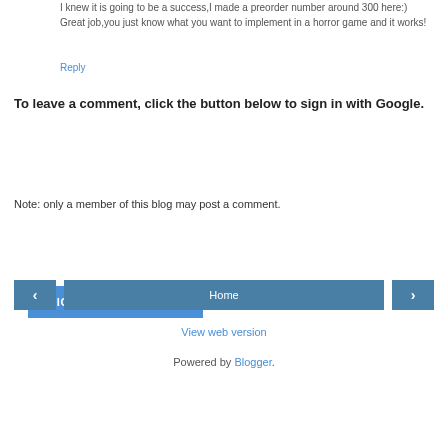I knew it is going to be a success,I made a preorder number around 300 here:)
Great job,you just know what you want to implement in a horror game and it works!
Reply
To leave a comment, click the button below to sign in with Google.
[Figure (other): Blue button labeled SIGN IN WITH GOOGLE]
Note: only a member of this blog may post a comment.
[Figure (other): Navigation bar with left arrow button, Home button, and right arrow button]
View web version
Powered by Blogger.